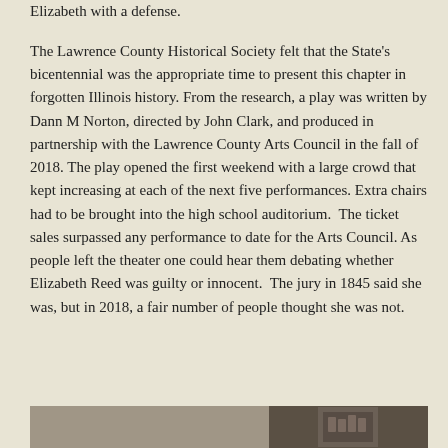Elizabeth with a defense.

The Lawrence County Historical Society felt that the State's bicentennial was the appropriate time to present this chapter in forgotten Illinois history. From the research, a play was written by Dann M Norton, directed by John Clark, and produced in partnership with the Lawrence County Arts Council in the fall of 2018. The play opened the first weekend with a large crowd that kept increasing at each of the next five performances. Extra chairs had to be brought into the high school auditorium.  The ticket sales surpassed any performance to date for the Arts Council. As people left the theater one could hear them debating whether Elizabeth Reed was guilty or innocent.  The jury in 1845 said she was, but in 2018, a fair number of people thought she was not.
[Figure (photo): A historical photograph partially visible at the bottom of the page, showing a group of people.]